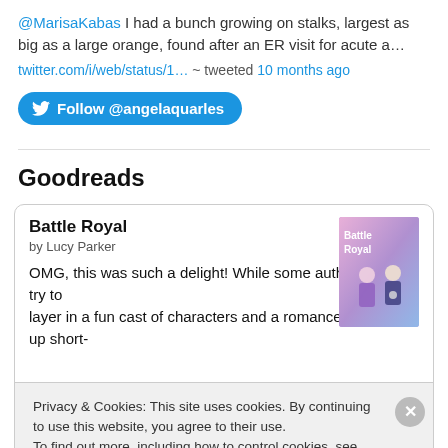@MarisaKabas I had a bunch growing on stalks, largest as big as a large orange, found after an ER visit for acute a…
twitter.com/i/web/status/1… ~ tweeted 10 months ago
Follow @angelaquarles
Goodreads
Battle Royal
by Lucy Parker
OMG, this was such a delight! While some authors who try to layer in a fun cast of characters and a romance plot end up short-
Privacy & Cookies: This site uses cookies. By continuing to use this website, you agree to their use.
To find out more, including how to control cookies, see here: Cookie Policy
Close and accept